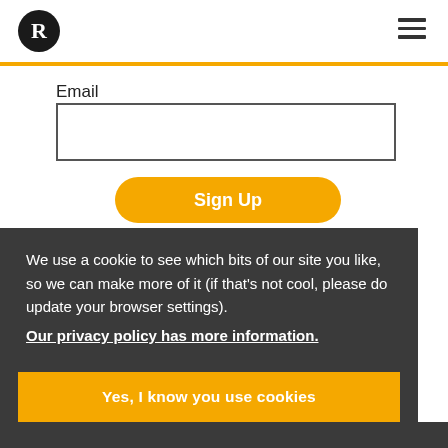R logo and navigation menu
Email
Sign Up
We use a cookie to see which bits of our site you like, so we can make more of it (if that's not cool, please do update your browser settings).
Our privacy policy has more information.
Yes, I know you use cookies